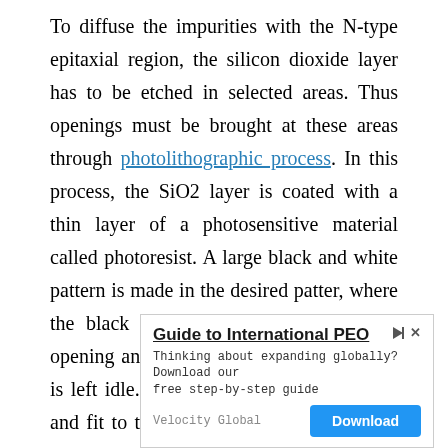To diffuse the impurities with the N-type epitaxial region, the silicon dioxide layer has to be etched in selected areas. Thus openings must be brought at these areas through photolithographic process. In this process, the SiO2 layer is coated with a thin layer of a photosensitive material called photoresist. A large black and white pattern is made in the desired patter, where the black pattern represents the area of opening and white represents the area that is left idle. This pattern is reduced in size and fit to the layer, above the photoresist. The
[Figure (other): Advertisement banner: 'Guide to International PEO' by Velocity Global with a Download button. Text: Thinking about expanding globally? Download our free step-by-step guide.]